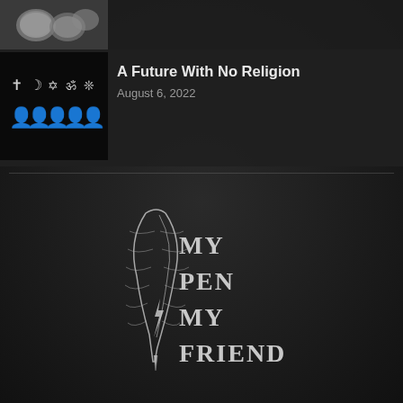[Figure (photo): Thumbnail image of coins/currency at top left]
[Figure (illustration): Black image with religious symbols (cross, crescent, star of david, om, snowflake) above human figures representing different religions]
A Future With No Religion
August 6, 2022
[Figure (logo): My Pen My Friend logo — a silver feather quill with stylized text MY PEN MY FRIEND]